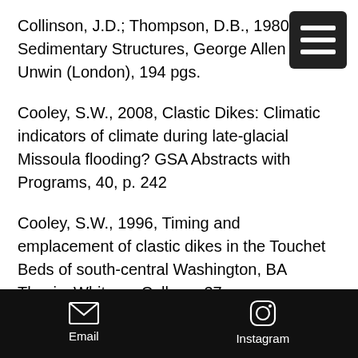Collinson, J.D.; Thompson, D.B., 1980, Sedimentary Structures, George Allen and Unwin (London), 194 pgs.
Cooley, S.W., 2008, Clastic Dikes: Climatic indicators of climate during late-glacial Missoula flooding? GSA Abstracts with Programs, 40, p. 242
Cooley, S.W., 1996, Timing and emplacement of clastic dikes in the Touchet Beds of south-central Washington, BA Thesis, Whitman College, 37 pgs.
Cooley, S.W.; Pidduck, B.K.; Pogue,
Email  Instagram